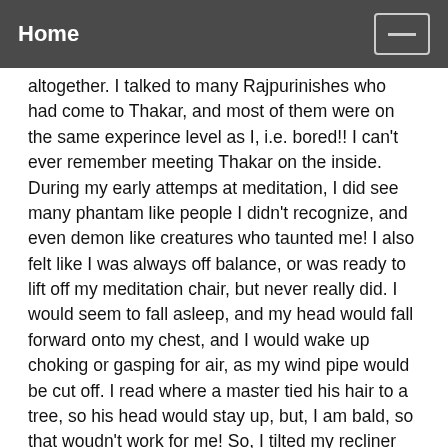Home
altogether. I talked to many Rajpurinishes who had come to Thakar, and most of them were on the same experince level as I, i.e. bored!! I can't ever remember meeting Thakar on the inside. During my early attemps at meditation, I did see many phantam like people I didn't recognize, and even demon like creatures who taunted me! I also felt like I was always off balance, or was ready to lift off my meditation chair, but never really did. I would seem to fall asleep, and my head would fall forward onto my chest, and I would wake up choking or gasping for air, as my wind pipe would be cut off. I read where a master tied his hair to a tree, so his head would stay up, but, I am bald, so that woudn't work for me! So, I tilted my recliner chair I was meditating in just back far enough, so that my head would not fall on my chest, but my spine would stay straight. But, as xxxxxxx testified about her meditation experinces, there was mostly a lot of snoring. At the satsang meeting, we would meditate as a group, and there would be many snoring! so, doubts began to set in for me, and I started to expolre new possibilities. I read Darshan Singh's books, went to a couple of his meetings